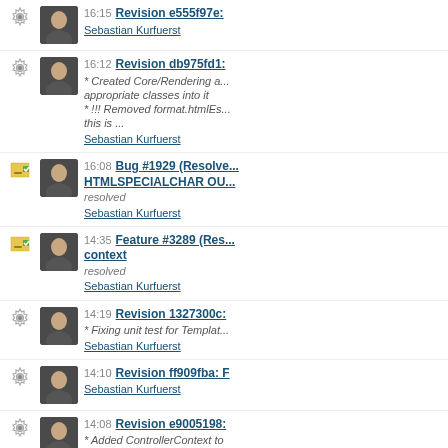16:15 Revision e555f97e: Sebastian Kurfuerst
16:12 Revision db975fd1: * Created Core/Rendering a... appropriate classes into it * !!! Removed format.htmlEs... this is ... Sebastian Kurfuerst
16:08 Bug #1929 (Resolve... HTMLSPECIALCHAR OU... resolved Sebastian Kurfuerst
14:35 Feature #3289 (Res... context resolved Sebastian Kurfuerst
14:19 Revision 1327300c: * Fixing unit test for Templat... Sebastian Kurfuerst
14:10 Revision ff909fba: F Sebastian Kurfuerst
14:08 Revision e9005198: * Added ControllerContext to AbstractViewHelper (solves... Sebastian Kurfuerst
13:11 Bug #3412 (Accepte... ViewHelperNode.php -> convertArgumentValue() - of integers and booleans...